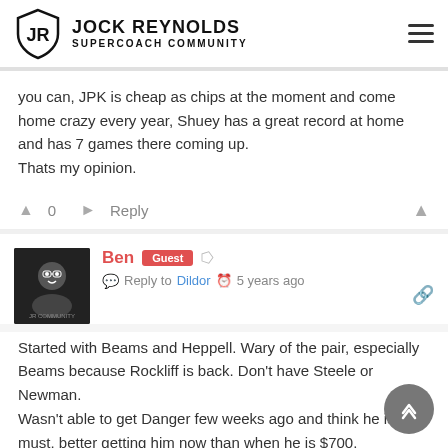JOCK REYNOLDS SUPERCOACH COMMUNITY
you can, JPK is cheap as chips at the moment and come home crazy every year, Shuey has a great record at home and has 7 games there coming up.
Thats my opinion.
0  Reply
Ben  Guest   Reply to Dildor  5 years ago
Started with Beams and Heppell. Wary of the pair, especially Beams because Rockliff is back. Don't have Steele or Newman.
Wasn't able to get Danger few weeks ago and think he is a must, better getting him now than when he is $700.
Like I say, only got 1 on field player to upgrade, two if you count Witts.